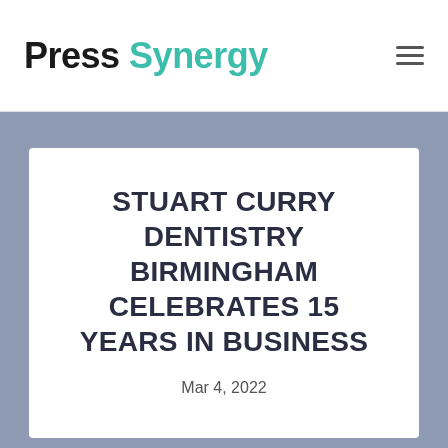Press Synergy
STUART CURRY DENTISTRY BIRMINGHAM CELEBRATES 15 YEARS IN BUSINESS
Mar 4, 2022